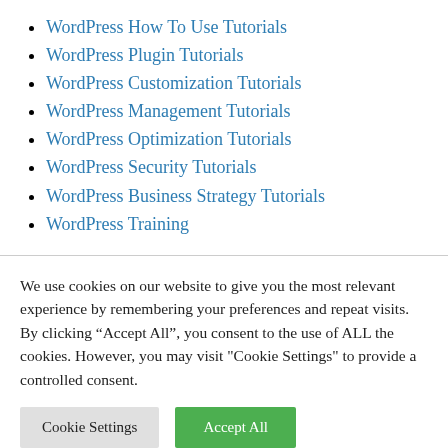WordPress How To Use Tutorials
WordPress Plugin Tutorials
WordPress Customization Tutorials
WordPress Management Tutorials
WordPress Optimization Tutorials
WordPress Security Tutorials
WordPress Business Strategy Tutorials
WordPress Training
We use cookies on our website to give you the most relevant experience by remembering your preferences and repeat visits. By clicking “Accept All”, you consent to the use of ALL the cookies. However, you may visit "Cookie Settings" to provide a controlled consent.
Cookie Settings | Accept All